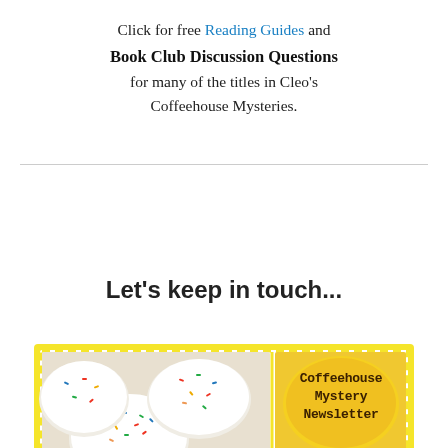Click for free Reading Guides and Book Club Discussion Questions for many of the titles in Cleo's Coffeehouse Mysteries.
Let's keep in touch...
[Figure (illustration): Newsletter signup image with yellow stamp-like border. Left side shows white frosted cookies with colorful sprinkles. Right side shows a yellow cookie/badge with text 'Coffeehouse Mystery Newsletter' written in dark ink.]